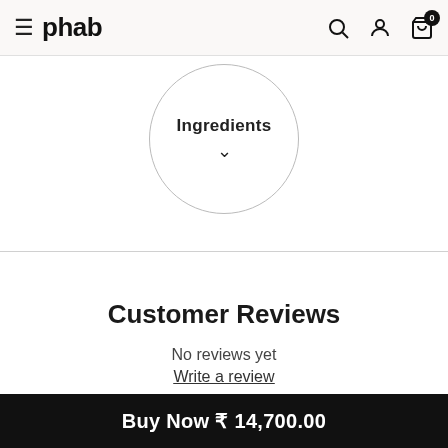phab
[Figure (other): Ingredients circle button with chevron dropdown arrow, partially visible at top of page]
Customer Reviews
No reviews yet
Write a review
Flavour
Buy Now ₹ 14,700.00